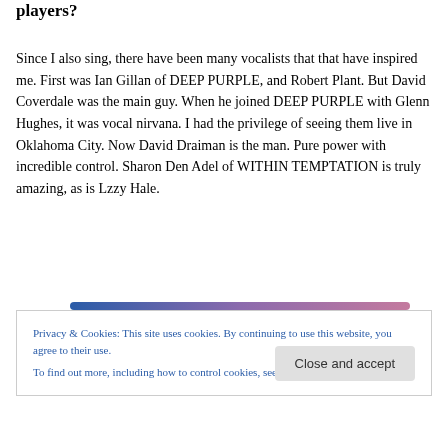players?
Since I also sing, there have been many vocalists that that have inspired me. First was Ian Gillan of DEEP PURPLE, and Robert Plant. But David Coverdale was the main guy. When he joined DEEP PURPLE with Glenn Hughes, it was vocal nirvana. I had the privilege of seeing them live in Oklahoma City. Now David Draiman is the man. Pure power with incredible control. Sharon Den Adel of WITHIN TEMPTATION is truly amazing, as is Lzzy Hale.
Privacy & Cookies: This site uses cookies. By continuing to use this website, you agree to their use.
To find out more, including how to control cookies, see here: Cookie Policy